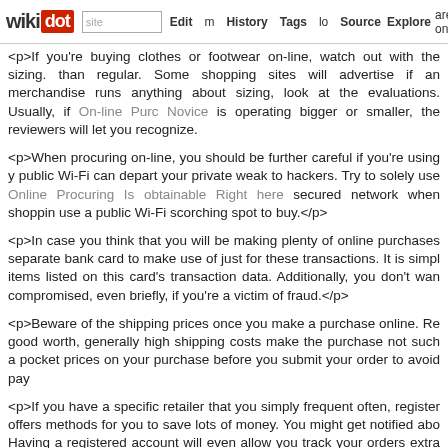wikidot | site Edit History Tags Source Explore Share on [twitter]
<p>If you're buying clothes or footwear on-line, watch out with the sizing. than regular. Some shopping sites will advertise if an merchandise runs anything about sizing, look at the evaluations. Usually, if On-line Purchasing Novice is operating bigger or smaller, the reviewers will let you recognize.
<p>When procuring on-line, you should be further careful if you're using y public Wi-Fi can depart your private weak to hackers. Try to solely use Online Procuring Is obtainable Right here secured network when shopping use a public Wi-Fi scorching spot to buy.</p>
<p>In case you think that you will be making plenty of online purchases separate bank card to make use of just for these transactions. It is simpl items listed on this card's transaction data. Additionally, you don't wan compromised, even briefly, if you're a victim of fraud.</p>
<p>Beware of the shipping prices once you make a purchase online. Re good worth, generally high shipping costs make the purchase not such a pocket prices on your purchase before you submit your order to avoid pay
<p>If you have a specific retailer that you simply frequent often, register offers methods for you to save lots of money. You might get notified abo Having a registered account will even allow you track your orders extra merchandise.</p>
<p>Overview the acquisition information rigorously before you submit y Procuring Straightforward of certain pages can make it robust to specify e Success In Online Purchasing to ensure you get precisely what you need
<p>After we go to the shop to purchase an merchandise, we regularly w